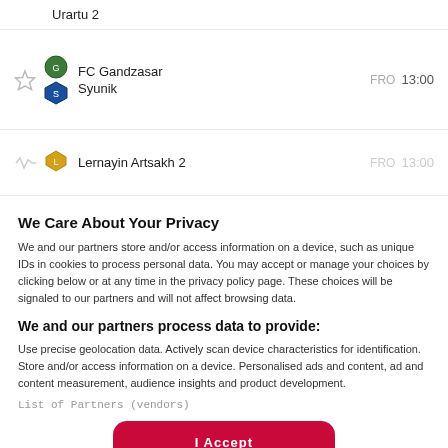Urantu 2
FC Gandzasar / Syunik — FRO 13:00
Lernayin Artsakh 2 — FRO 13:00
We Care About Your Privacy
We and our partners store and/or access information on a device, such as unique IDs in cookies to process personal data. You may accept or manage your choices by clicking below or at any time in the privacy policy page. These choices will be signaled to our partners and will not affect browsing data.
We and our partners process data to provide:
Use precise geolocation data. Actively scan device characteristics for identification. Store and/or access information on a device. Personalised ads and content, ad and content measurement, audience insights and product development.
List of Partners (vendors)
I Accept
Reject All
Show Purposes